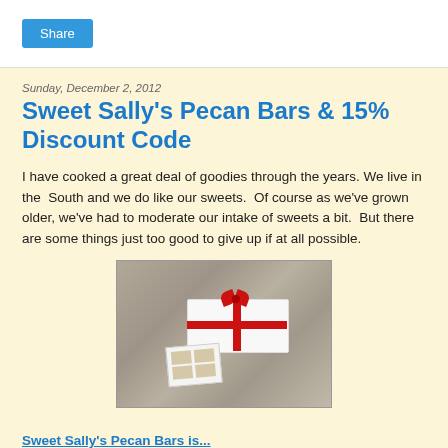Share
Sunday, December 2, 2012
Sweet Sally's Pecan Bars & 15% Discount Code
I have cooked a great deal of goodies through the years. We live in the  South and we do like our sweets.  Of course as we've grown older, we've had to moderate our intake of sweets a bit.  But there are some things just too good to give up if at all possible.
[Figure (photo): A white gift box with red ribbon and bow sitting on a granite countertop, with a small product card in front of it.]
Sweet Sally's Pecan Bars is...